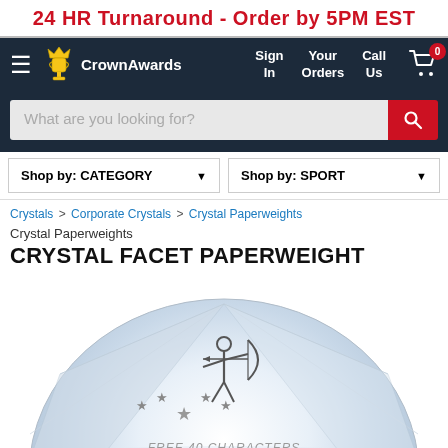24 HR Turnaround - Order by 5PM EST
[Figure (screenshot): Crown Awards navigation bar with logo, Sign In, Your Orders, Call Us, and cart with 0 items]
What are you looking for?
Shop by: CATEGORY   Shop by: SPORT
Crystals > Corporate Crystals > Crystal Paperweights
Crystal Paperweights
CRYSTAL FACET PAPERWEIGHT
[Figure (photo): Crystal facet paperweight with archer and stars engraving, dome-shaped clear crystal with faceted edges]
FREE 40 CHARACTERS